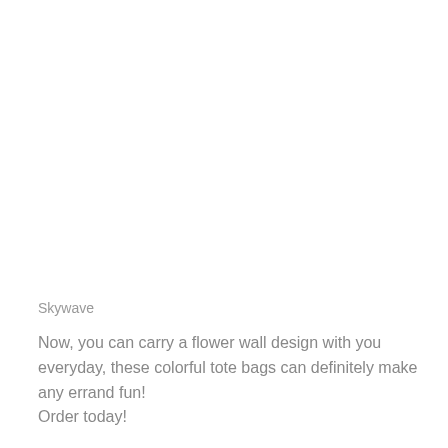Skywave
Now, you can carry a flower wall design with you everyday, these colorful tote bags can definitely make any errand fun!
Order today!